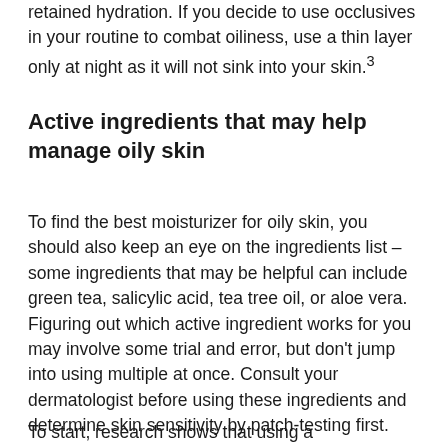retained hydration. If you decide to use occlusives in your routine to combat oiliness, use a thin layer only at night as it will not sink into your skin.³
Active ingredients that may help manage oily skin
To find the best moisturizer for oily skin, you should also keep an eye on the ingredients list – some ingredients that may be helpful can include green tea, salicylic acid, tea tree oil, or aloe vera. Figuring out which active ingredient works for you may involve some trial and error, but don't jump into using multiple at once. Consult your dermatologist before using these ingredients and determine skin sensitivity by patch-testing first.
To start, research shows that using a